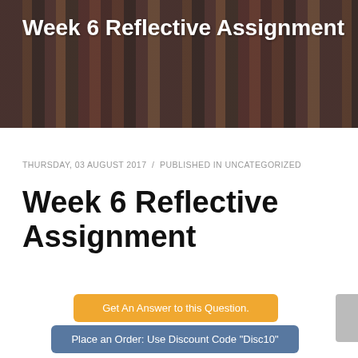[Figure (photo): Hero banner with blurred bookshelf background and dark overlay]
Week 6 Reflective Assignment
THURSDAY, 03 AUGUST 2017  /  PUBLISHED IN UNCATEGORIZED
Week 6 Reflective Assignment
Get An Answer to this Question.
Place an Order: Use Discount Code "Disc10"